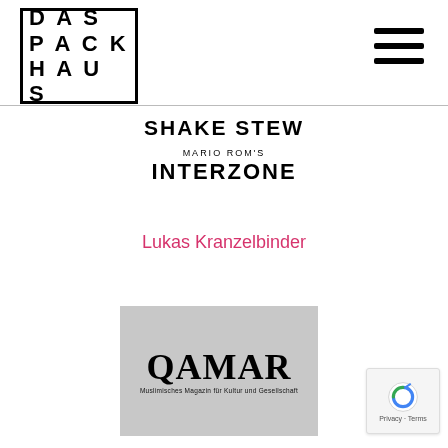[Figure (logo): Das Packhaus logo — bold letters DAS PACK HAUS in a square border]
[Figure (illustration): Hamburger menu icon — three horizontal black bars]
SHAKE STEW
MARIO ROM'S
INTERZONE
Lukas Kranzelbinder
[Figure (illustration): Album cover for QAMAR — Muslimisches Magazin für Kultur und Gesellschaft, grey background with large bold QAMAR text]
[Figure (other): reCAPTCHA badge with Privacy - Terms text]